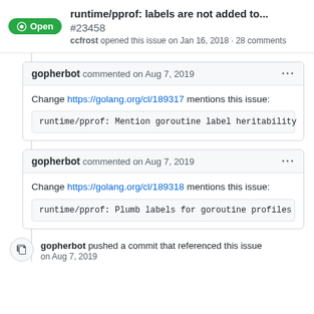runtime/pprof: labels are not added to... #23458
ccfrost opened this issue on Jan 16, 2018 · 28 comments
gopherbot commented on Aug 7, 2019
Change https://golang.org/cl/189317 mentions this issue:
runtime/pprof: Mention goroutine label heritability
gopherbot commented on Aug 7, 2019
Change https://golang.org/cl/189318 mentions this issue:
runtime/pprof: Plumb labels for goroutine profiles
gopherbot pushed a commit that referenced this issue on Aug 7, 2019